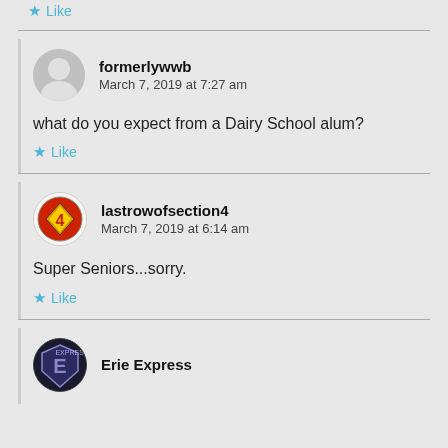Like
formerlywwb
March 7, 2019 at 7:27 am
what do you expect from a Dairy School alum?
Like
lastrowofsection4
March 7, 2019 at 6:14 am
Super Seniors...sorry.
Like
Erie Express